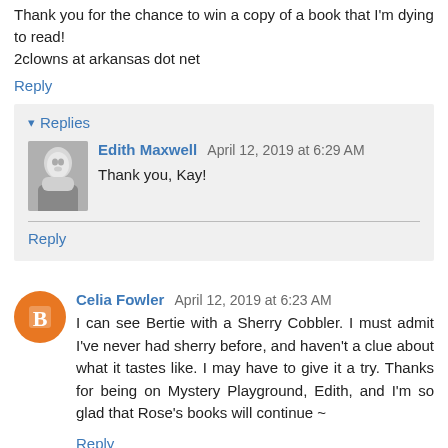Thank you for the chance to win a copy of a book that I'm dying to read!
2clowns at arkansas dot net
Reply
Replies
Edith Maxwell  April 12, 2019 at 6:29 AM
Thank you, Kay!
Reply
Celia Fowler  April 12, 2019 at 6:23 AM
I can see Bertie with a Sherry Cobbler. I must admit I've never had sherry before, and haven't a clue about what it tastes like. I may have to give it a try. Thanks for being on Mystery Playground, Edith, and I'm so glad that Rose's books will continue ~
Reply